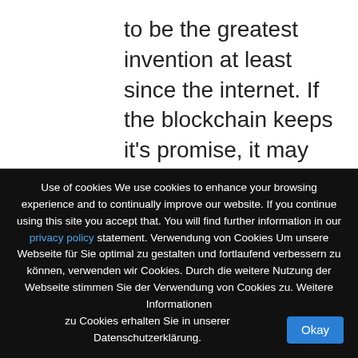to be the greatest invention at least since the internet. If the blockchain keeps it's promise, it may change how we pay, how we vote and that should just be the beginning. In a nutshell, it could revolutionize everything where trust is involved.
What is a blockchain?
Use of cookies We use cookies to enhance your browsing experience and to continually improve our website. If you continue using this site you accept that. You will find further information in our privacy policy statement. Verwendung von Cookies Um unsere Webseite für Sie optimal zu gestalten und fortlaufend verbessern zu können, verwenden wir Cookies. Durch die weitere Nutzung der Webseite stimmen Sie der Verwendung von Cookies zu. Weitere Informationen zu Cookies erhalten Sie in unserer Datenschutzerklärung. Okay